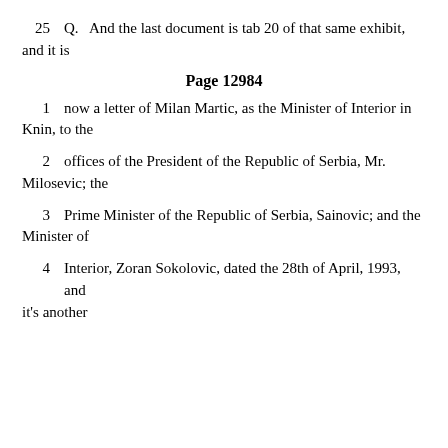25    Q.   And the last document is tab 20 of that same exhibit, and it is
Page 12984
1    now a letter of Milan Martic, as the Minister of Interior in Knin, to the
2    offices of the President of the Republic of Serbia, Mr. Milosevic; the
3    Prime Minister of the Republic of Serbia, Sainovic; and the Minister of
4    Interior, Zoran Sokolovic, dated the 28th of April, 1993, and it's another